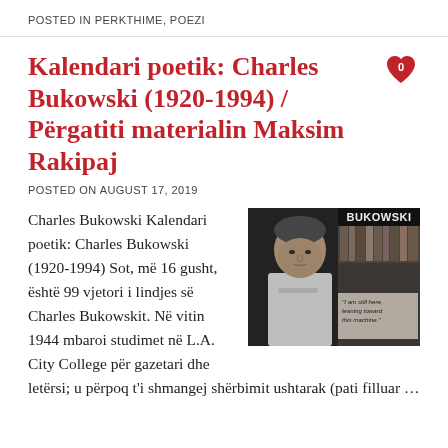POSTED IN PERKTHIME, POEZI
Kalendari poetik: Charles Bukowski (1920-1994) / Përgatiti materialin Maksim Rakipaj
POSTED ON AUGUST 17, 2019
[Figure (photo): Black and white photo of Charles Bukowski seated, with text overlay: 'I am still here, leaning toward this machine.' and BUKOWSKI text visible in background]
Charles Bukowski Kalendari poetik: Charles Bukowski (1920-1994) Sot, më 16 gusht, është 99 vjetori i lindjes së Charles Bukowskit. Në vitin 1944 mbaroi studimet në L.A. City College për gazetari dhe letërsi; u përpoq t'i shmangej shërbimit ushtarak (pati filluar …